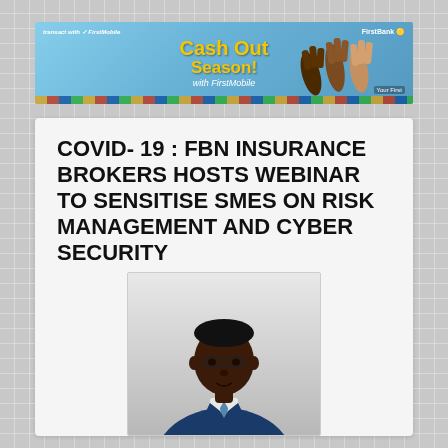[Figure (illustration): FirstBank 'Cash Out Season with FirstMobile' promotional banner advertisement with colorful hands graphic and multicolored bottom strip]
COVID-19 : FBN INSURANCE BROKERS HOSTS WEBINAR TO SENSITISE SMES ON RISK MANAGEMENT AND CYBER SECURITY
[Figure (photo): Portrait photo of a man in a blue suit and tie wearing glasses, against a light grey background]